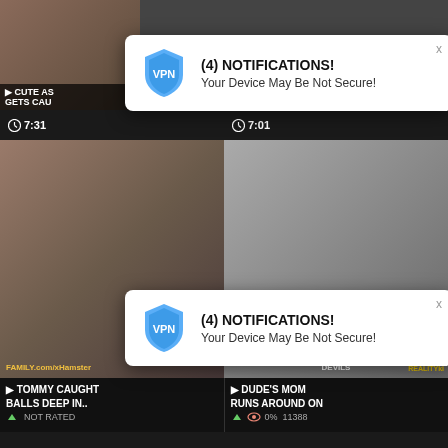[Figure (screenshot): Adult video website screenshot with two VPN notification popups overlaid. The page shows a dark-themed adult video grid. Two identical notification popups appear: '(4) NOTIFICATIONS! Your Device May Be Not Secure!' with a VPN shield logo. Video thumbnails and titles visible including 'TOMMY CAUGHT BALLS DEEP IN..', 'DUDE'S MOM RUNS AROUND ON', timer badges showing 7:31, 7:01, 5:00, 7:04. Watermarks: FAMILY.com/xHamster, DEVILS, REALITYki. Rating info: NOT RATED, 0% 11388.]